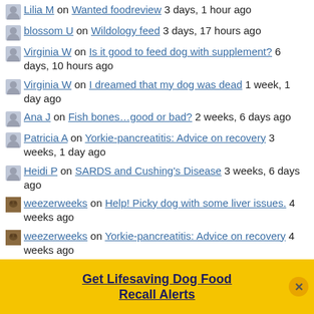Lilia M on Wanted foodreview 3 days, 1 hour ago
blossom U on Wildology feed 3 days, 17 hours ago
Virginia W on Is it good to feed dog with supplement? 6 days, 10 hours ago
Virginia W on I dreamed that my dog was dead 1 week, 1 day ago
Ana J on Fish bones…good or bad? 2 weeks, 6 days ago
Patricia A on Yorkie-pancreatitis: Advice on recovery 3 weeks, 1 day ago
Heidi P on SARDS and Cushing's Disease 3 weeks, 6 days ago
weezerweeks on Help! Picky dog with some liver issues. 4 weeks ago
weezerweeks on Yorkie-pancreatitis: Advice on recovery 4 weeks ago
Get Lifesaving Dog Food Recall Alerts